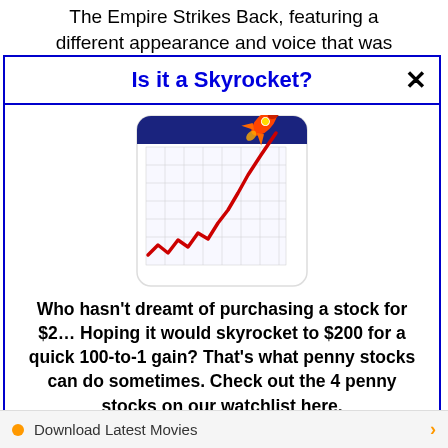The Empire Strikes Back, featuring a different appearance and voice that was
Is it a Skyrocket?
[Figure (illustration): A stock chart icon showing a red rising line chart on a grid background, with a rocket launching from the top right corner, set inside a rounded square frame with a dark blue header bar.]
Who hasn't dreamt of purchasing a stock for $2… Hoping it would skyrocket to $200 for a quick 100-to-1 gain? That's what penny stocks can do sometimes. Check out the 4 penny stocks on our watchlist here.
>>> See The List <<<
Download Latest Movies